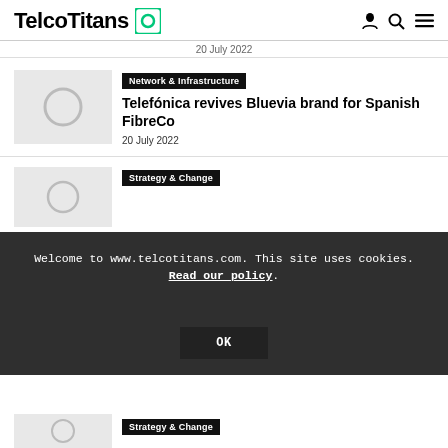TelcoTitans
20 July 2022
[Figure (photo): Thumbnail image placeholder with circle icon for article about Telefónica Bluevia brand]
Network & Infrastructure
Telefónica revives Bluevia brand for Spanish FibreCo
20 July 2022
[Figure (photo): Thumbnail image placeholder with circle icon for article about Strategy & Change]
Strategy & Change
Welcome to www.telcotitans.com. This site uses cookies. Read our policy. OK
[Figure (photo): Thumbnail image placeholder for another Strategy & Change article]
Strategy & Change